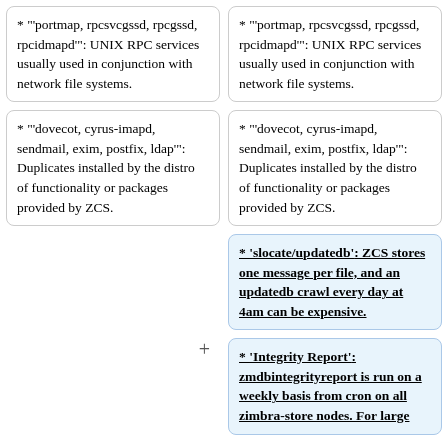* "'portmap, rpcsvcgssd, rpcgssd, rpcidmapd'": UNIX RPC services usually used in conjunction with network file systems.
* "'portmap, rpcsvcgssd, rpcgssd, rpcidmapd'": UNIX RPC services usually used in conjunction with network file systems.
* "'dovecot, cyrus-imapd, sendmail, exim, postfix, ldap'": Duplicates installed by the distro of functionality or packages provided by ZCS.
* "'dovecot, cyrus-imapd, sendmail, exim, postfix, ldap'": Duplicates installed by the distro of functionality or packages provided by ZCS.
* "'slocate/updatedb'": ZCS stores one message per file, and an updatedb crawl every day at 4am can be expensive.
* "'Integrity Report'": zmdbintegrityreport is run on a weekly basis from cron on all zimbra-store nodes. For large